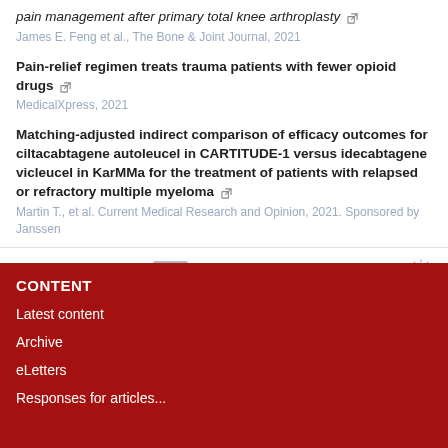pain management after primary total knee arthroplasty
James E. Feng et al., The Bone & Joint Journal, 2021
Pain-relief regimen treats trauma patients with fewer opioid drugs
MedicalXpress, 2021
Matching-adjusted indirect comparison of efficacy outcomes for ciltacabtagene autoleucel in CARTITUDE-1 versus idecabtagene vicleucel in KarMMa for the treatment of patients with relapsed or refractory multiple myeloma
Martin T., et al. Current Medical Research and Opinion, 2021. Sponsored by Janssen
Powered by TRENDMD
CONTENT
Latest content
Archive
eLetters
Responses for articles...